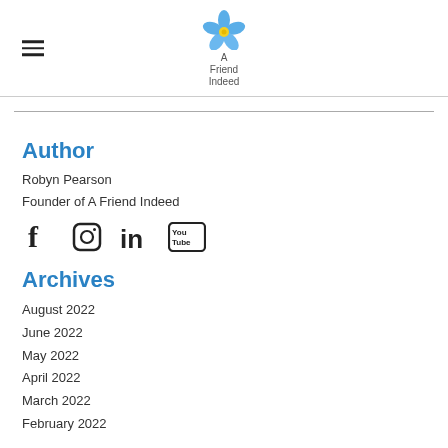A Friend Indeed
Author
Robyn Pearson
Founder of A Friend Indeed
[Figure (infographic): Social media icons: Facebook, Instagram, LinkedIn, YouTube]
Archives
August 2022
June 2022
May 2022
April 2022
March 2022
February 2022